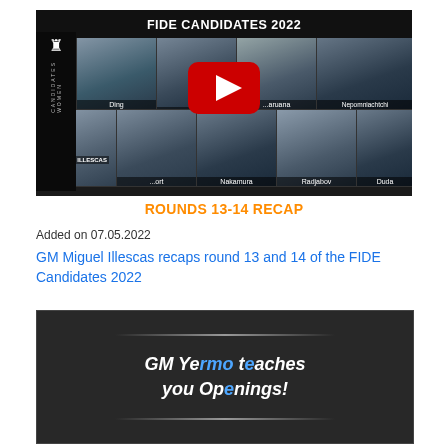[Figure (screenshot): YouTube video thumbnail for FIDE Candidates 2022 Rounds 13-14 Recap by GM Miguel Illescas, showing chess player headshots in a grid with a red YouTube play button overlay]
Added on 07.05.2022
GM Miguel Illescas recaps round 13 and 14 of the FIDE Candidates 2022
[Figure (screenshot): Dark video thumbnail showing text: GM Yermo teaches you Openings! with decorative lines]